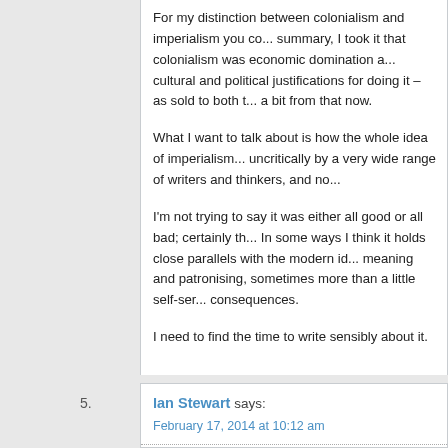For my distinction between colonialism and imperialism you co... summary, I took it that colonialism was economic domination a... cultural and political justifications for doing it – as sold to both t... a bit from that now.
What I want to talk about is how the whole idea of imperialism... uncritically by a very wide range of writers and thinkers, and no...
I'm not trying to say it was either all good or all bad; certainly th... In some ways I think it holds close parallels with the modern id... meaning and patronising, sometimes more than a little self-ser... consequences.
I need to find the time to write sensibly about it.
Ian Stewart says:
February 17, 2014 at 10:12 am
Interesting discussion Vercetti and Roderick. Being a non-historian I wo... ultimately on military might. Does this mean the contemporary equivalen... country into poverty, oligarchs buying up huge swathes of land, private e...